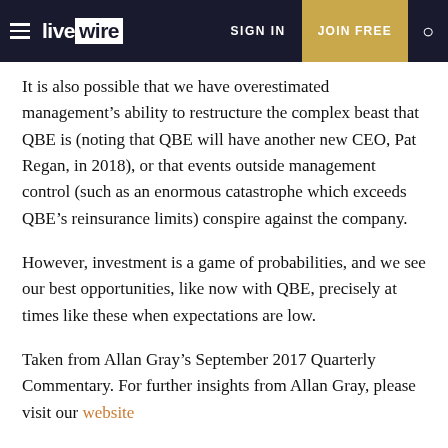livewire | SIGN IN | JOIN FREE
It is also possible that we have overestimated management’s ability to restructure the complex beast that QBE is (noting that QBE will have another new CEO, Pat Regan, in 2018), or that events outside management control (such as an enormous catastrophe which exceeds QBE’s reinsurance limits) conspire against the company.
However, investment is a game of probabilities, and we see our best opportunities, like now with QBE, precisely at times like these when expectations are low.
Taken from Allan Gray’s September 2017 Quarterly Commentary. For further insights from Allan Gray, please visit our website